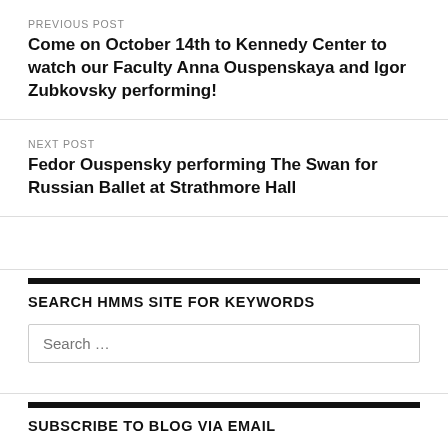PREVIOUS POST
Come on October 14th to Kennedy Center to watch our Faculty Anna Ouspenskaya and Igor Zubkovsky performing!
NEXT POST
Fedor Ouspensky performing The Swan for Russian Ballet at Strathmore Hall
SEARCH HMMS SITE FOR KEYWORDS
Search …
SUBSCRIBE TO BLOG VIA EMAIL